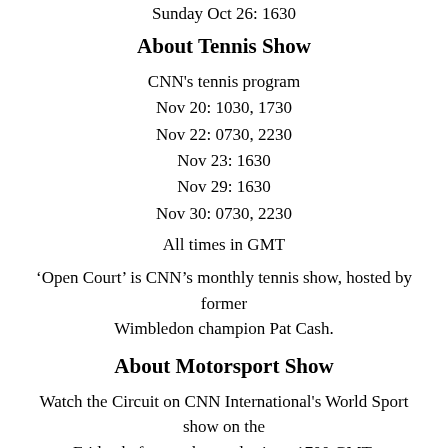Sunday Oct 26: 1630
About Tennis Show
CNN's tennis program
Nov 20: 1030, 1730
Nov 22: 0730, 2230
Nov 23: 1630
Nov 29: 1630
Nov 30: 0730, 2230
All times in GMT
‘Open Court’ is CNN’s monthly tennis show, hosted by former Wimbledon champion Pat Cash.
About Motorsport Show
Watch the Circuit on CNN International's World Sport show on the Friday before each grand prix at 1700 GMT.
About MainSail
Watch MainSail at the following times (GMT):